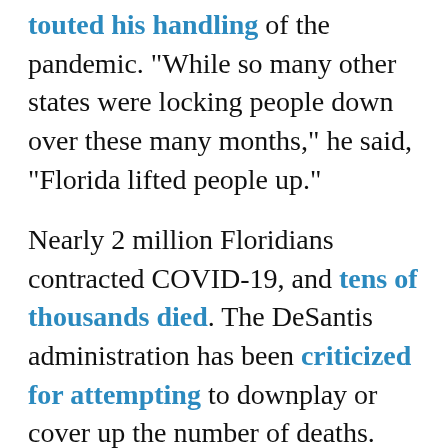touted his handling of the pandemic. "While so many other states were locking people down over these many months," he said, "Florida lifted people up."
Nearly 2 million Floridians contracted COVID-19, and tens of thousands died. The DeSantis administration has been criticized for attempting to downplay or cover up the number of deaths.
The governor has said he'll sign the bills. When he does, Florida will join dozens of other states that have already banned negligence lawsuits over COVID-19 exposure.
COVID-19 legal immunity bills are pending in